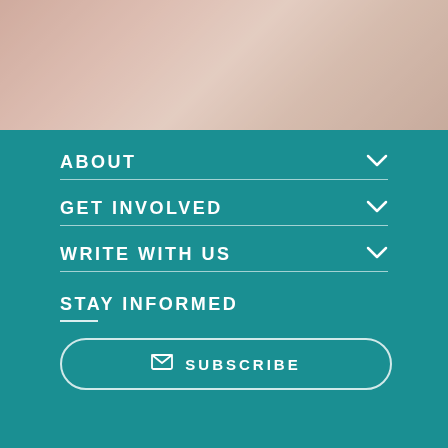[Figure (photo): Blurred/faded photograph at top of page showing a warm-toned background scene]
ABOUT
GET INVOLVED
WRITE WITH US
STAY INFORMED
SUBSCRIBE